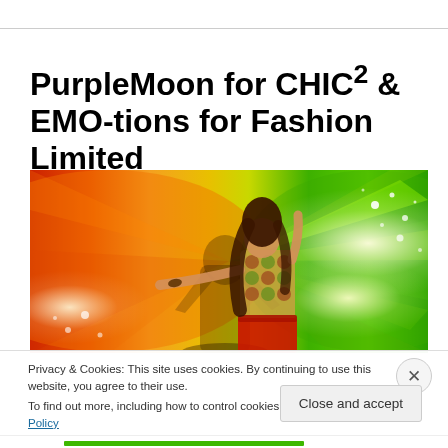PurpleMoon for CHIC² & EMO-tions for Fashion Limited
[Figure (photo): Fashion photo of a woman with long dark hair in a colorful patterned top and red skirt, arms outstretched, against a vivid orange, yellow, and green swirling light background with sparkles and a silhouette shadow.]
Privacy & Cookies: This site uses cookies. By continuing to use this website, you agree to their use.
To find out more, including how to control cookies, see here: Cookie Policy